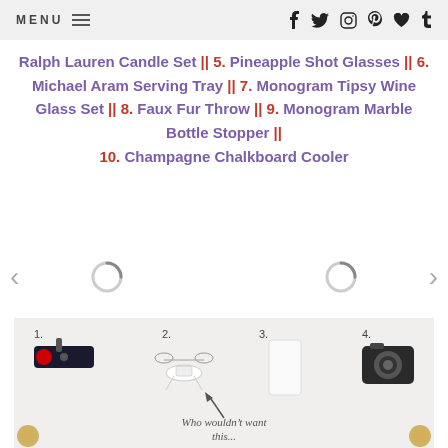MENU | social icons (Facebook, Twitter, Instagram, Pinterest, Heart, Tumblr)
Ralph Lauren Candle Set || 5. Pineapple Shot Glasses || 6. Michael Aram Serving Tray || 7. Monogram Tipsy Wine Glass Set || 8. Faux Fur Throw || 9. Monogram Marble Bottle Stopper || 10. Champagne Chalkboard Cooler
[Figure (screenshot): Carousel navigation with left arrow, two loading spinners, and right arrow]
[Figure (photo): Gift guide product collage showing: 1. Roku streaming stick, 2. DJI drone, 3. A white phone case or book, 4. Canon DSLR camera, with text 'Who wouldn't want this...']